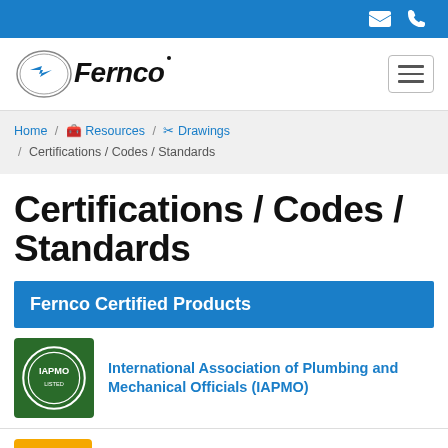Fernco website header with phone and email icons, navigation logo and hamburger menu
Home / Resources / Drawings / Certifications / Codes / Standards
Certifications / Codes / Standards
Fernco Certified Products
International Association of Plumbing and Mechanical Officials (IAPMO)
International Code Council Evaluation